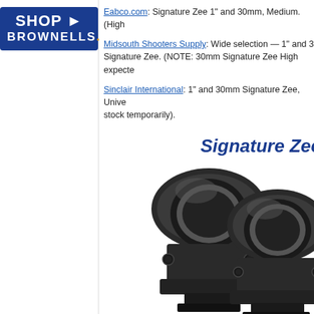[Figure (logo): Shop Brownells logo — blue rectangle with white text SHOP arrow BROWNELLS and a gold dot]
Eabco.com: Signature Zee 1" and 30mm, Medium. (High…
Midsouth Shooters Supply: Wide selection — 1" and 3… Signature Zee. (NOTE: 30mm Signature Zee High expecte…
Sinclair International: 1" and 30mm Signature Zee, Unive… stock temporarily).
[Figure (photo): Product photo of two black Signature Zee scope mounting rings on a white background, with partial title text 'Signature Zee M' visible in blue italic bold font]